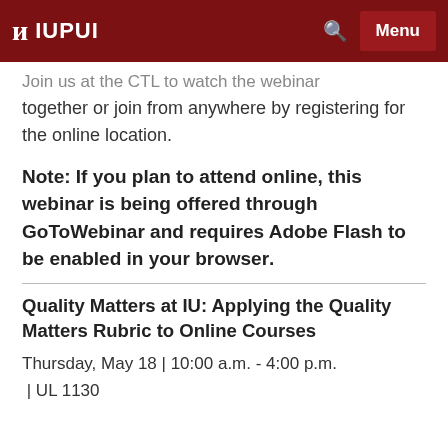IUPUI
Join us at the CTL to watch the webinar together or join from anywhere by registering for the online location.
Note:  If you plan to attend online, this webinar is being offered through GoToWebinar and requires Adobe Flash to be enabled in your browser.
Quality Matters at IU: Applying the Quality Matters Rubric to Online Courses
Thursday, May 18  | 10:00 a.m. - 4:00 p.m.  | UL 1130